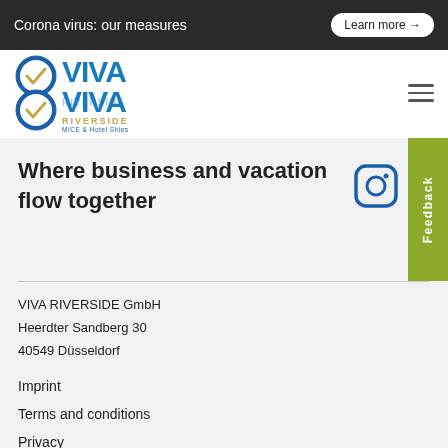Corona virus: our measures   Learn more →
[Figure (logo): VIVA RIVERSIDE logo with two circular checkmark emblems and text VIVA VIVA RIVERSIDE MICE & Hotel Ships]
Where business and vacation flow together
VIVA RIVERSIDE GmbH
Heerdter Sandberg 30
40549 Düsseldorf
Imprint
Terms and conditions
Privacy